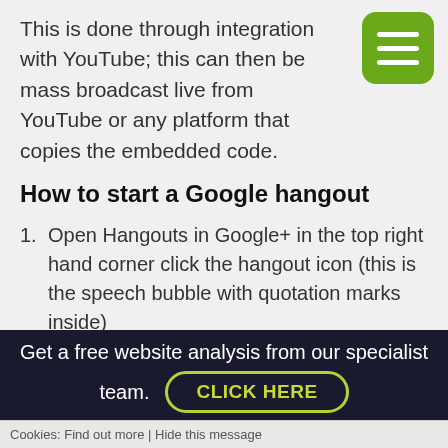This is done through integration with YouTube; this can then be mass broadcast live from YouTube or any platform that copies the embedded code.
How to start a Google hangout
Open Hangouts in Google+ in the top right hand corner click the hangout icon (this is the speech bubble with quotation marks inside)
Search or select the people that you wish to start a hangout with.
Choose the type of hangout you wish to start: text conversation, video call, phone call, text message.
So now you know some of the features of Google+ why
Get a free website analysis from our specialist team.
CLICK HERE
Cookies: Find out more | Hide this message